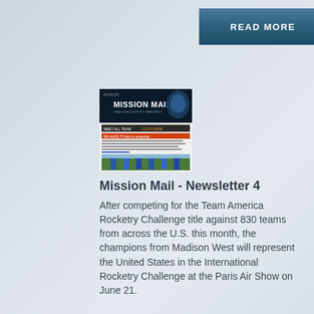[Figure (screenshot): READ MORE button - blue gradient button with white bold text]
[Figure (screenshot): Mission Mail newsletter screenshot showing a dark header with astronaut graphic and 'MISSION MAIL' text, followed by newsletter content and a photo of a team in blue shirts outdoors]
Mission Mail - Newsletter 4
After competing for the Team America Rocketry Challenge title against 830 teams from across the U.S. this month, the champions from Madison West will represent the United States in the International Rocketry Challenge at the Paris Air Show on June 21.
[Figure (screenshot): READ MORE button - blue gradient button with white bold text]